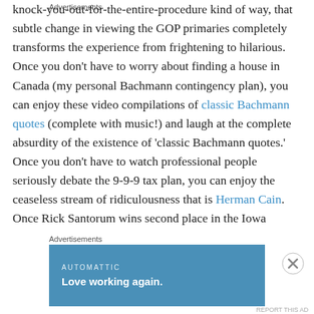knock-you-out-for-the-entire-procedure kind of way, that subtle change in viewing the GOP primaries completely transforms the experience from frightening to hilarious. Once you don't have to worry about finding a house in Canada (my personal Bachmann contingency plan), you can enjoy these video compilations of classic Bachmann quotes (complete with music!) and laugh at the complete absurdity of the existence of 'classic Bachmann quotes.' Once you don't have to watch professional people seriously debate the 9-9-9 tax plan, you can enjoy the ceaseless stream of ridiculousness that is Herman Cain. Once Rick Santorum wins second place in the Iowa caucuses and opens the door to all sorts of Twitter-ready
Advertisements
[Figure (other): Advertisement banner: AUTOMATTIC logo with tagline 'Love working again.' on a blue background]